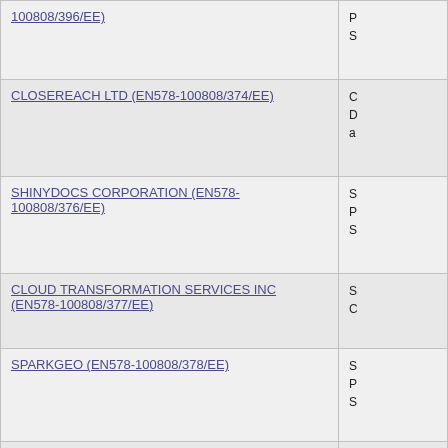| Supplier Name | Description |
| --- | --- |
| 100808/396/EE) | P
S |
| CLOSEREACH LTD (EN578-100808/374/EE) | C
D
a |
| SHINYDOCS CORPORATION (EN578-100808/376/EE) | S
P
S |
| CLOUD TRANSFORMATION SERVICES INC (EN578-100808/377/EE) | S
C |
| SPARKGEO (EN578-100808/378/EE) | S
P
S |
| FLEXIMATION SYSTEMS INC (EN578-100808/379/EE) | F
P
S |
| ACT INC (EN578-100808/380/EE) | A
P
S |
| PURELGIC IT SOLUTIONS INC (EN578-100808/300/EE) |  |